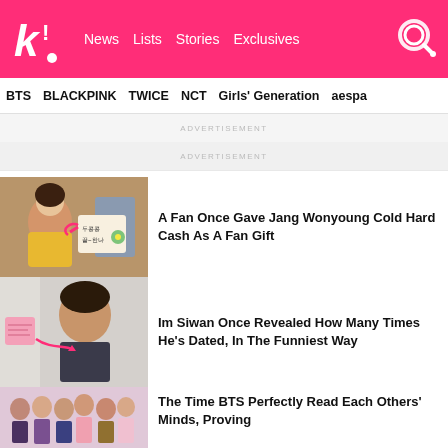K! News Lists Stories Exclusives
BTS  BLACKPINK  TWICE  NCT  Girls' Generation  aespa
ADVERTISEMENT
ADVERTISEMENT
A Fan Once Gave Jang Wonyoung Cold Hard Cash As A Fan Gift
Im Siwan Once Revealed How Many Times He's Dated, In The Funniest Way
The Time BTS Perfectly Read Each Others' Minds, Proving